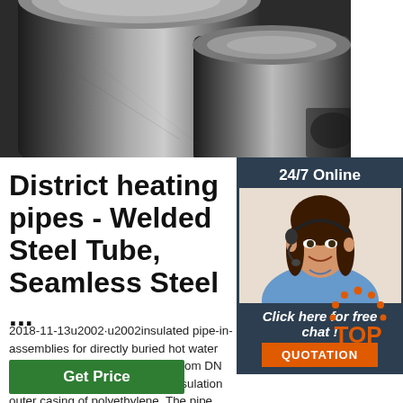[Figure (photo): Two dark steel round bars/rods photographed on a dark background]
[Figure (photo): Customer service representative (woman with headset) with 24/7 Online banner, Click here for free chat text, and QUOTATION button]
District heating pipes - Welded Steel Tube, Seamless Steel ...
2018-11-13u2002·u2002insulated pipe-in-assemblies for directly buried hot water comprising a steel service pipe from DN 1200, rigid polyurethane foam insulation outer casing of polyethylene. The pipe assembly may also include the following additional elements: measuring wires, spacers and diffusion barriers.
[Figure (logo): TOP logo with orange dots arranged in an arc above the word TOP]
Get Price